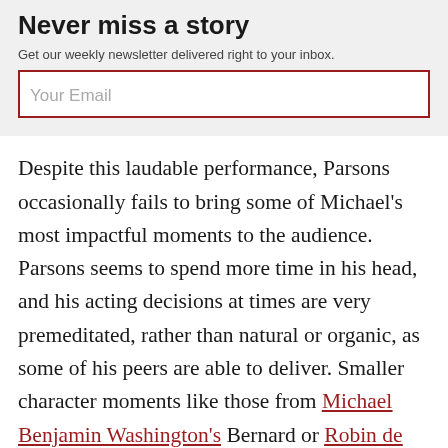Never miss a story
Get our weekly newsletter delivered right to your inbox.
Your Email
Despite this laudable performance, Parsons occasionally fails to bring some of Michael's most impactful moments to the audience. Parsons seems to spend more time in his head, and his acting decisions at times are very premeditated, rather than natural or organic, as some of his peers are able to deliver. Smaller character moments like those from Michael Benjamin Washington's Bernard or Robin de Jesús's Emory pack a greater, authentic punch.